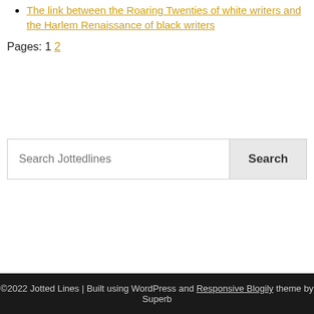The link between the Roaring Twenties of white writers and the Harlem Renaissance of black writers
Pages: 1 2
[Figure (other): Search box with placeholder text 'Search Jottedlines' and a Search button]
©2022 Jotted Lines | Built using WordPress and Responsive Blogily theme by Superb